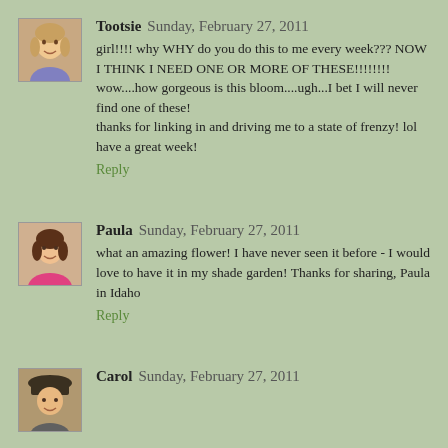[Figure (photo): Avatar photo of Tootsie, a woman with light hair]
Tootsie Sunday, February 27, 2011
girl!!!! why WHY do you do this to me every week??? NOW I THINK I NEED ONE OR MORE OF THESE!!!!!!!! wow....how gorgeous is this bloom....ugh...I bet I will never find one of these!
thanks for linking in and driving me to a state of frenzy! lol have a great week!
Reply
[Figure (photo): Avatar photo of Paula, a woman with dark hair wearing pink]
Paula Sunday, February 27, 2011
what an amazing flower! I have never seen it before - I would love to have it in my shade garden! Thanks for sharing, Paula in Idaho
Reply
[Figure (photo): Avatar photo of Carol, a person wearing a hat]
Carol Sunday, February 27, 2011